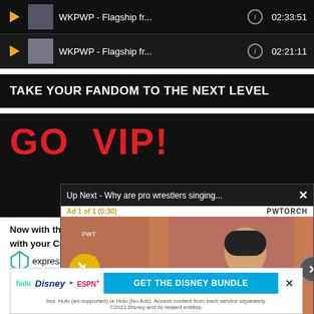[Figure (screenshot): Podcast list rows showing WKPWP - Flagship fr... episodes with play buttons, thumbnails, info icons, and durations 02:33:51 and 02:21:11]
TAKE YOUR FANDOM TO THE NEXT LEVEL
[Figure (screenshot): GO VIP! promotional banner with red bold text on black background, overlaid by a video player popup showing 'Up Next - Why are pro wrestlers singing...' with Ad 1 of 1 (0:30), PWTORCH branding, and a person in wrestling ring background]
Now with three payment options, sign up with your Credit or Debit card via our express sign up form.
EXCLUSIVE VIP BENEFITS
Wade... Plugs removed
[Figure (screenshot): Disney Bundle advertisement: hulu Disney+ ESPN+ GET THE DISNEY BUNDLE. Incl. Hulu (ad-supported) or Hulu (No Ads). Access content from each service separately. ©2021 Disney and its related entities.]